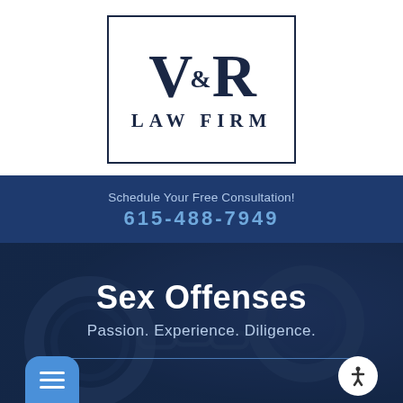[Figure (logo): V&R Law Firm logo with large serif V and R letters and ampersand, inside a rectangular border, with LAW FIRM text below]
Schedule Your Free Consultation!
615-488-7949
[Figure (photo): Dark blue-tinted background photo of handcuffs with text overlay: Sex Offenses, Passion. Experience. Diligence.]
Sex Offenses
Passion. Experience. Diligence.